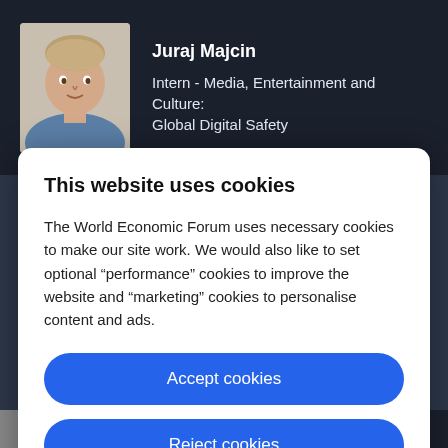Juraj Majcin
Intern - Media, Entertainment and Culture: Global Digital Safety
This website uses cookies
The World Economic Forum uses necessary cookies to make our site work. We would also like to set optional “performance” cookies to improve the website and “marketing” cookies to personalise content and ads.
Accept cookies
Reject cookies
Cookie settings
Platform Curator, Mining and Metals Industry